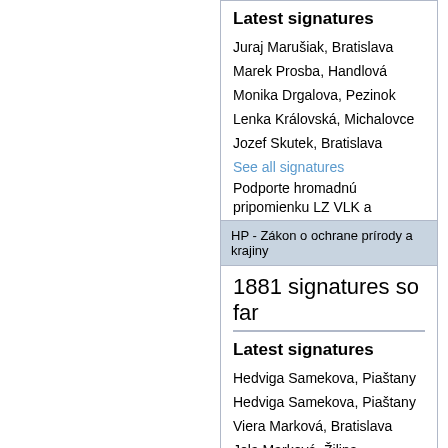Latest signatures
Juraj Marušiak, Bratislava
Marek Prosba, Handlová
Monika Drgalova, Pezinok
Lenka Královská, Michalovce
Jozef Skutek, Bratislava
See all signatures
Podporte hromadnú pripomienku LZ VLK a Aropaňe!
Let me sign!
HP - Zákon o ochrane prírody a krajiny
1881 signatures so far
Latest signatures
Hedviga Samekova, Piaštany
Hedviga Samekova, Piaštany
Viera Marková, Bratislava
Jela Marková, Žilina